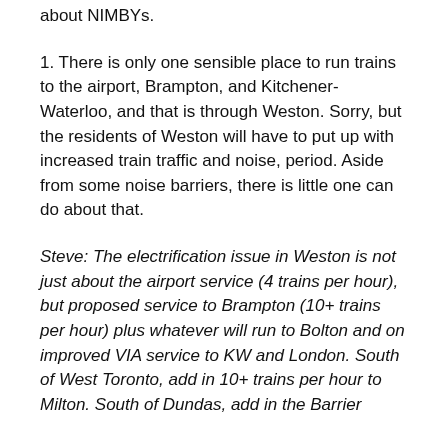about NIMBYs.
1. There is only one sensible place to run trains to the airport, Brampton, and Kitchener-Waterloo, and that is through Weston. Sorry, but the residents of Weston will have to put up with increased train traffic and noise, period. Aside from some noise barriers, there is little one can do about that.
Steve: The electrification issue in Weston is not just about the airport service (4 trains per hour), but proposed service to Brampton (10+ trains per hour) plus whatever will run to Bolton and on improved VIA service to KW and London. South of West Toronto, add in 10+ trains per hour to Milton. South of Dundas, add in the Barrier